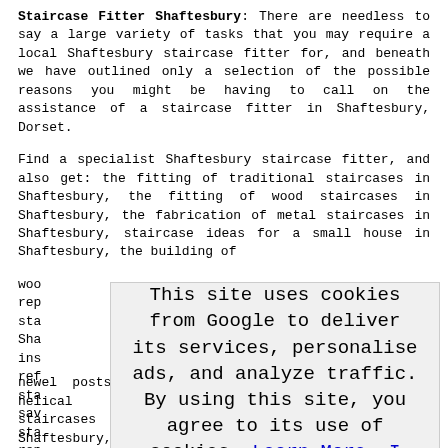Staircase Fitter Shaftesbury: There are needless to say a large variety of tasks that you may require a local Shaftesbury staircase fitter for, and beneath we have outlined only a selection of the possible reasons you might be having to call on the assistance of a staircase fitter in Shaftesbury, Dorset.

Find a specialist Shaftesbury staircase fitter, and also get: the fitting of traditional staircases in Shaftesbury, the fitting of wood staircases in Shaftesbury, the fabrication of metal staircases in Shaftesbury, staircase ideas for a small house in Shaftesbury, the building of woo... rep... sta... Sha... ins... ref... sta... sav... sta... rep... and sta... sta... sta...
[Figure (screenshot): Cookie consent overlay from Google stating: 'This site uses cookies from Google to deliver its services, personalise ads, and analyze traffic. By using this site, you agree to its use of cookies. Learn More  I Agree']
newel posts in Shaftesbury, the installation of helical staircases in Shaftesbury, staircase repairs in Shaftesbury,